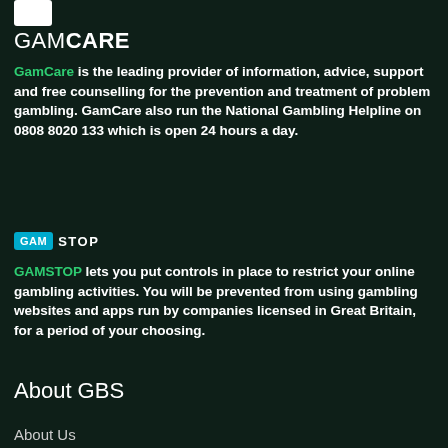[Figure (logo): GamCare logo — white box followed by GAM in white and CARE in bold white]
GAMCARE
GamCare is the leading provider of information, advice, support and free counselling for the prevention and treatment of problem gambling. GamCare also run the National Gambling Helpline on 0808 8020 133 which is open 24 hours a day.
[Figure (logo): GAMSTOP logo — GAM in teal badge and STOP in white bold text]
GAMSTOP lets you put controls in place to restrict your online gambling activities. You will be prevented from using gambling websites and apps run by companies licensed in Great Britain, for a period of your choosing.
About GBS
About Us